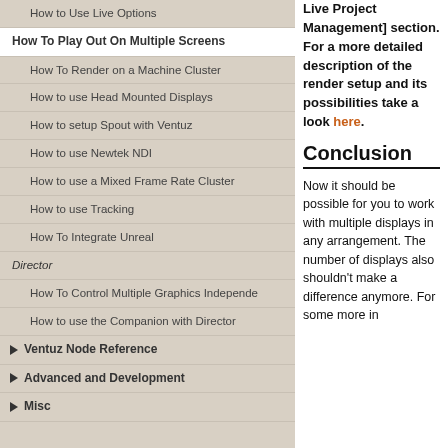How to Use Live Options
How To Play Out On Multiple Screens
How To Render on a Machine Cluster
How to use Head Mounted Displays
How to setup Spout with Ventuz
How to use Newtek NDI
How to use a Mixed Frame Rate Cluster
How to use Tracking
How To Integrate Unreal
Director
How To Control Multiple Graphics Independe…
How to use the Companion with Director
Ventuz Node Reference
Advanced and Development
Misc
Live Project Management] section. For a more detailed description of the render setup and its possibilities take a look here.
Conclusion
Now it should be possible for you to work with multiple displays in any arrangement. The number of displays also shouldn't make a difference anymore. For some more in